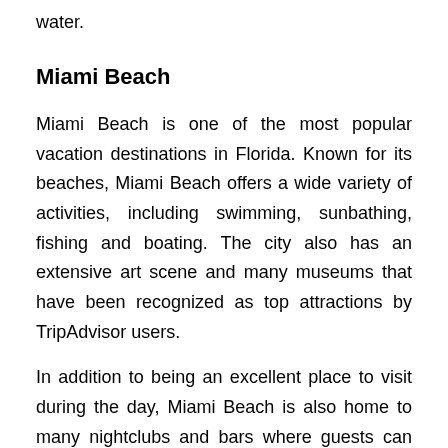water.
Miami Beach
Miami Beach is one of the most popular vacation destinations in Florida. Known for its beaches, Miami Beach offers a wide variety of activities, including swimming, sunbathing, fishing and boating. The city also has an extensive art scene and many museums that have been recognized as top attractions by TripAdvisor users.
In addition to being an excellent place to visit during the day, Miami Beach is also home to many nightclubs and bars where guests can enjoy live music or dancing until late at night.
Panama City Beach